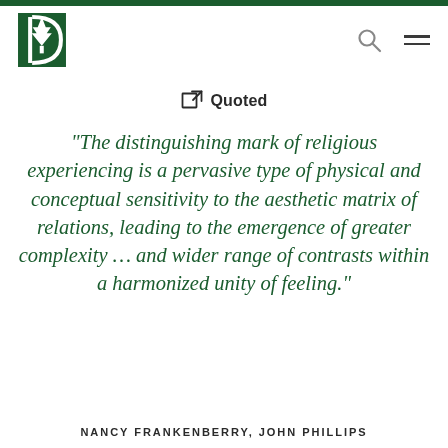Dartmouth College website header with logo and navigation icons
Quoted
“The distinguishing mark of religious experiencing is a pervasive type of physical and conceptual sensitivity to the aesthetic matrix of relations, leading to the emergence of greater complexity … and wider range of contrasts within a harmonized unity of feeling.”
NANCY FRANKENBERRY, JOHN PHILLIPS